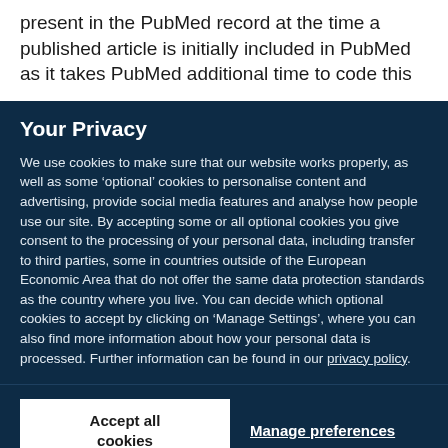present in the PubMed record at the time a published article is initially included in PubMed as it takes PubMed additional time to code this
Your Privacy
We use cookies to make sure that our website works properly, as well as some ‘optional’ cookies to personalise content and advertising, provide social media features and analyse how people use our site. By accepting some or all optional cookies you give consent to the processing of your personal data, including transfer to third parties, some in countries outside of the European Economic Area that do not offer the same data protection standards as the country where you live. You can decide which optional cookies to accept by clicking on ‘Manage Settings’, where you can also find more information about how your personal data is processed. Further information can be found in our privacy policy.
Accept all cookies
Manage preferences